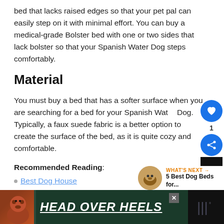bed that lacks raised edges so that your pet pal can easily step on it with minimal effort. You can buy a medical-grade Bolster bed with one or two sides that lack bolster so that your Spanish Water Dog steps comfortably.
Material
You must buy a bed that has a softer surface when you are searching for a bed for your Spanish Water Dog. Typically, a faux suede fabric is a better option to create the surface of the bed, as it is quite cozy and comfortable.
Recommended Reading:
Best Dog House
[Figure (other): Social sharing UI widget: heart/like button (blue circle), count '1', share button (blue circle with share icon), dark square element]
[Figure (infographic): What's Next panel: dog thumbnail photo, label 'WHAT'S NEXT →', title '5 Best Dog Beds for...']
[Figure (other): Advertisement banner with dark green background, dog image on left, bold italic white text 'HEAD OVER HEELS' with green underline, close X button, dark right panel with icon]